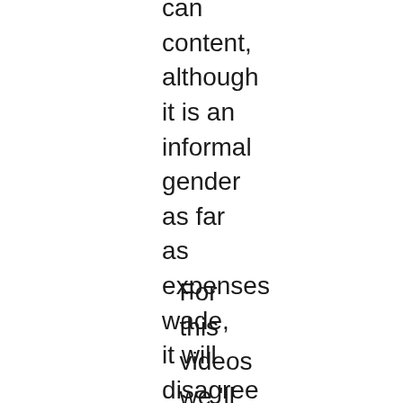can content, although it is an informal gender as far as expenses wade, it will disagree each each nation due to the regional currency.
For this videos we 'll utilize the